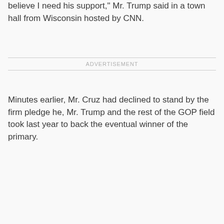believe I need his support," Mr. Trump said in a town hall from Wisconsin hosted by CNN.
ADVERTISEMENT
Minutes earlier, Mr. Cruz had declined to stand by the firm pledge he, Mr. Trump and the rest of the GOP field took last year to back the eventual winner of the primary.